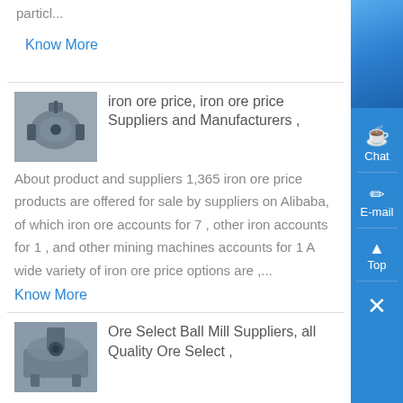particl...
Know More
[Figure (photo): Industrial machine/equipment - iron ore processing machinery]
iron ore price, iron ore price Suppliers and Manufacturers ,
About product and suppliers 1,365 iron ore price products are offered for sale by suppliers on Alibaba, of which iron ore accounts for 7 , other iron accounts for 1 , and other mining machines accounts for 1 A wide variety of iron ore price options are ,...
Know More
[Figure (photo): Industrial ball mill equipment - ore processing machinery]
Ore Select Ball Mill Suppliers, all Quality Ore Select ,